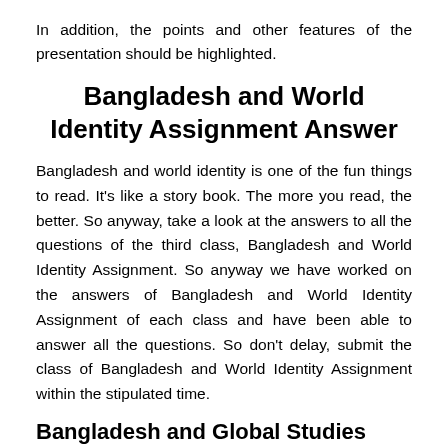In addition, the points and other features of the presentation should be highlighted.
Bangladesh and World Identity Assignment Answer
Bangladesh and world identity is one of the fun things to read. It's like a story book. The more you read, the better. So anyway, take a look at the answers to all the questions of the third class, Bangladesh and World Identity Assignment. So anyway we have worked on the answers of Bangladesh and World Identity Assignment of each class and have been able to answer all the questions. So don't delay, submit the class of Bangladesh and World Identity Assignment within the stipulated time.
Bangladesh and Global Studies